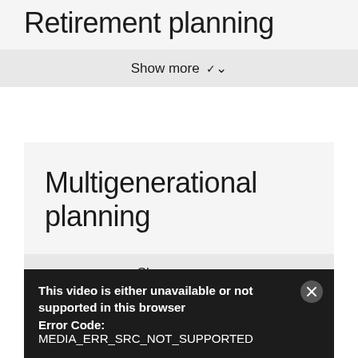Retirement planning
Show more ▾
Multigenerational planning
Show more ▾
[Figure (screenshot): Video player error message on dark background. Text reads: 'This video is either unavailable or not supported in this browser' with 'Error Code: MEDIA_ERR_SRC_NOT_SUPPORTED' and a close (X) button in top right corner.]